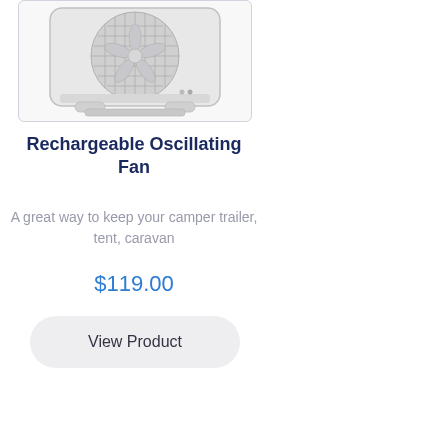[Figure (photo): A rechargeable oscillating box fan, grey/white color, shown from the front with fan blades visible behind a protective grill, rectangular body with stand at the bottom.]
Rechargeable Oscillating Fan
A great way to keep your camper trailer, tent, caravan
$119.00
View Product